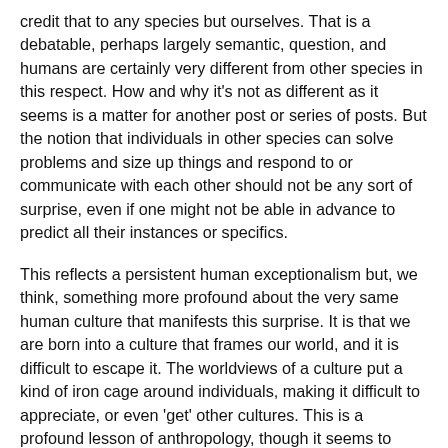credit that to any species but ourselves. That is a debatable, perhaps largely semantic, question, and humans are certainly very different from other species in this respect. How and why it's not as different as it seems is a matter for another post or series of posts. But the notion that individuals in other species can solve problems and size up things and respond to or communicate with each other should not be any sort of surprise, even if one might not be able in advance to predict all their instances or specifics.
This reflects a persistent human exceptionalism but, we think, something more profound about the very same human culture that manifests this surprise. It is that we are born into a culture that frames our world, and it is difficult to escape it. The worldviews of a culture put a kind of iron cage around individuals, making it difficult to appreciate, or even 'get' other cultures. This is a profound lesson of anthropology, though it seems to have been pretty much forgotten these days, with the prevalent opposition to notions of cultural relativism (that other cultures could be as true or valid ways to live as our own culture is).